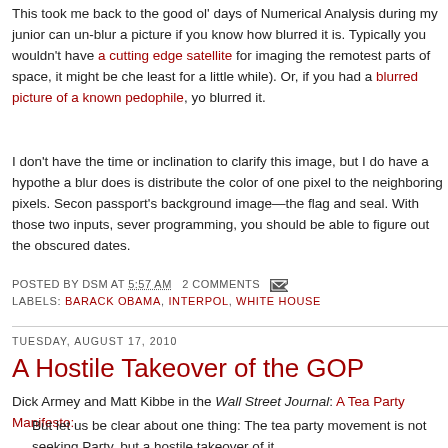This took me back to the good ol' days of Numerical Analysis during my junior can un-blur a picture if you know how blurred it is. Typically you wouldn't have a cutting edge satellite for imaging the remotest parts of space, it might be che least for a little while). Or, if you had a blurred picture of a known pedophile, yo blurred it.
I don't have the time or inclination to clarify this image, but I do have a hypothe a blur does is distribute the color of one pixel to the neighboring pixels. Secon passport's background image—the flag and seal. With those two inputs, sever programming, you should be able to figure out the obscured dates.
POSTED BY DSM AT 5:57 AM   2 COMMENTS
LABELS: BARACK OBAMA, INTERPOL, WHITE HOUSE
TUESDAY, AUGUST 17, 2010
A Hostile Takeover of the GOP
Dick Armey and Matt Kibbe in the Wall Street Journal: A Tea Party Manifesto:
But let us be clear about one thing: The tea party movement is not seeking Party, but a hostile takeover of it.
The American values of individual freedom, fiscal responsibility and limited